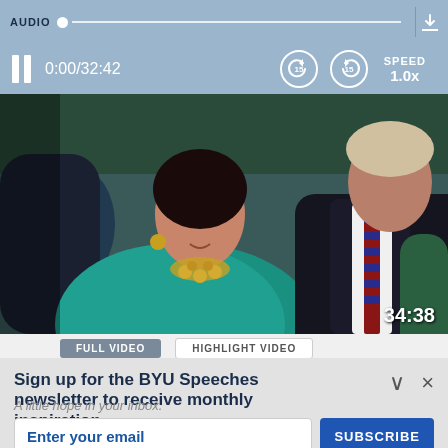[Figure (screenshot): Audio player bar with progress indicator at top, showing AUDIO label with slider]
[Figure (screenshot): Video player controls showing pause button, time 0:00/32:42, rewind 15s, forward 15s, SPEED 1.0x and download icon]
[Figure (photo): Video thumbnail showing two people seated - a woman in teal with gold jewelry and a man in dark suit with striped tie. Timestamp 34:38 visible in bottom right.]
FULL VIDEO    HIGHLIGHT VIDEO
Sign up for the BYU Speeches newsletter to receive monthly inspiration.
A little hope in your inbox.
Enter your email
SUBSCRIBE